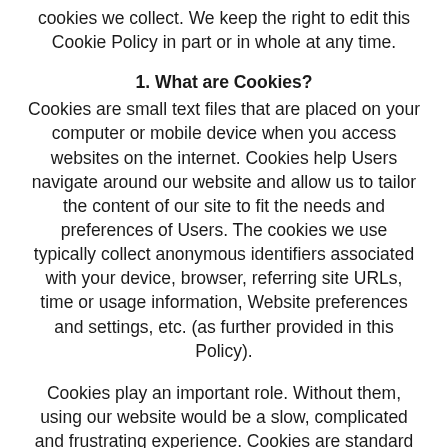cookies we collect. We keep the right to edit this Cookie Policy in part or in whole at any time.
1. What are Cookies?
Cookies are small text files that are placed on your computer or mobile device when you access websites on the internet. Cookies help Users navigate around our website and allow us to tailor the content of our site to fit the needs and preferences of Users. The cookies we use typically collect anonymous identifiers associated with your device, browser, referring site URLs, time or usage information, Website preferences and settings, etc. (as further provided in this Policy).
Cookies play an important role. Without them, using our website would be a slow, complicated and frustrating experience. Cookies are standard to all company websites. So while they cannot be eliminated, we remain transparent about the purpose of cookies giving you the choice to consent to their use